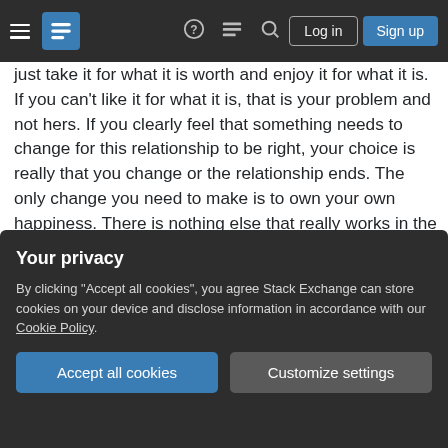Navigation bar with hamburger menu, logo, help, chat, search icons, Log in and Sign up buttons
just take it for what it is worth and enjoy it for what it is. If you can't like it for what it is, that is your problem and not hers. If you clearly feel that something needs to change for this relationship to be right, your choice is really that you change or the relationship ends. The only change you need to make is to own your own happiness. There is nothing else that really works in the long run.
Share
Improve this answer
edited Feb 13, 2018 at 8:14
Anne Daunted
GoFundMonica
Your privacy
By clicking "Accept all cookies", you agree Stack Exchange can store cookies on your device and disclose information in accordance with our Cookie Policy.
Accept all cookies
Customize settings
Your words hit at the right point, I think this is a problem I have for a very long time (due to various